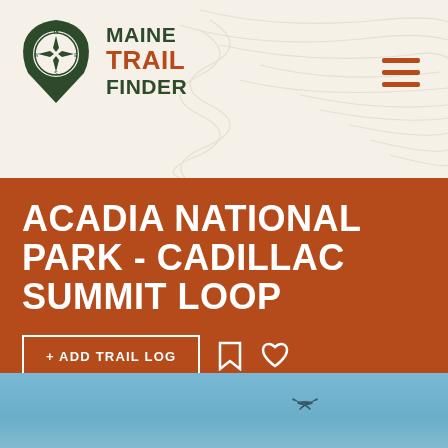[Figure (logo): Maine Trail Finder logo with compass icon and text]
ACADIA NATIONAL PARK - CADILLAC SUMMIT LOOP
+ ADD TRAIL LOG
[Figure (photo): Blue sky with a small bird or aircraft visible, panoramic outdoor photo]